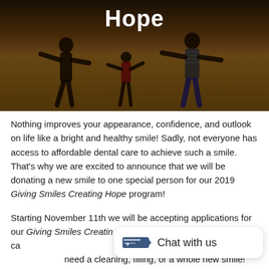[Figure (photo): Family running in a field at sunset, viewed from behind. Dark overlay on image.]
Hope
Nothing improves your appearance, confidence, and outlook on life like a bright and healthy smile! Sadly, not everyone has access to affordable dental care to achieve such a smile. That's why we are excited to announce that we will be donating a new smile to one special person for our 2019 Giving Smiles Creating Hope program!
Starting November 11th we will be accepting applications for our Giving Smiles Creating Hope program, which aims to provide free dental care to those who cannot afford it for one reason or another. Whether you need a cleaning, filling, or a whole new smile!